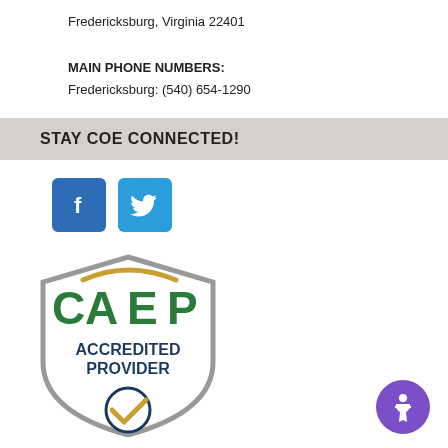Fredericksburg, Virginia 22401
MAIN PHONE NUMBERS:
Fredericksburg: (540) 654-1290
STAY COE CONNECTED!
[Figure (logo): Facebook social media icon button (blue square with white 'f')]
[Figure (logo): Twitter social media icon button (blue square with white bird)]
[Figure (logo): CAEP Accredited Provider shield logo with green and dark blue text and gold checkmark]
[Figure (other): Accessibility icon button (purple circle with white person/wheelchair symbol)]